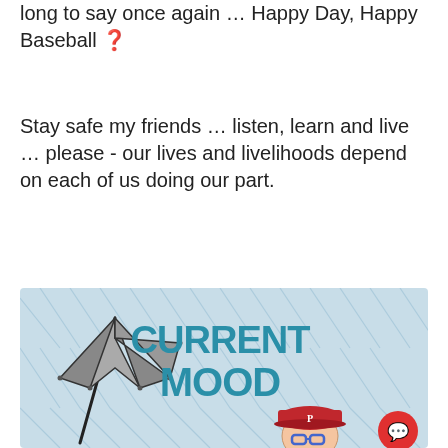long to say once again ... Happy Day, Happy Baseball 🎉
Stay safe my friends ... listen, learn and live ... please - our lives and livelihoods depend on each of us doing our part.
[Figure (illustration): A cartoon-style illustration with a rainy/stormy background showing diagonal rain lines. On the left is an inside-out broken umbrella (gray). Bold teal/blue text reads 'CURRENT MOOD'. At the bottom is a cartoon man wearing a red Philadelphia Phillies baseball cap and blue glasses. There is a red circular chat/message button icon in the bottom right corner.]